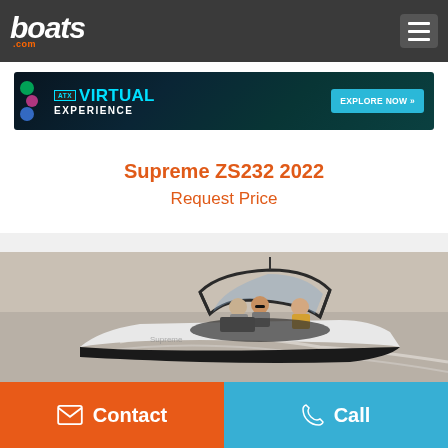boats.com
[Figure (screenshot): ATX Virtual Experience advertisement banner with teal/dark background, showing 'VIRTUAL EXPERIENCE' text and 'EXPLORE NOW' button]
Supreme ZS232 2022
Request Price
[Figure (photo): Photo of a white Supreme ZS232 boat with people riding on open water, wake behind boat, grey windshield arch]
Contact
Call